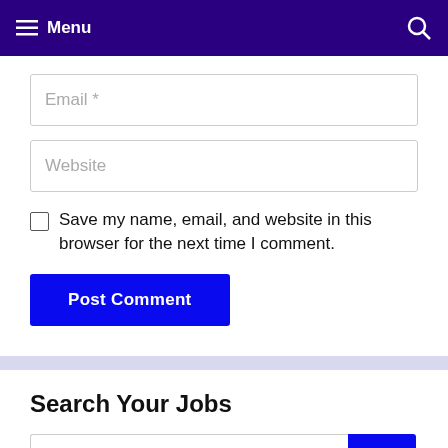Menu
Email *
Website
Save my name, email, and website in this browser for the next time I comment.
Post Comment
Search Your Jobs
Search ...